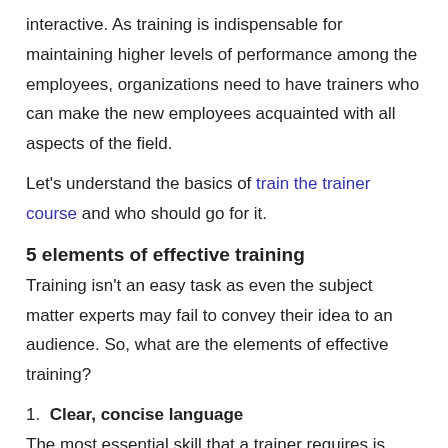interactive. As training is indispensable for maintaining higher levels of performance among the employees, organizations need to have trainers who can make the new employees acquainted with all aspects of the field.
Let's understand the basics of train the trainer course and who should go for it.
5 elements of effective training
Training isn't an easy task as even the subject matter experts may fail to convey their idea to an audience. So, what are the elements of effective training?
1. Clear, concise language
The most essential skill that a trainer requires is clarity in language. A trainer can be successful when he/she can